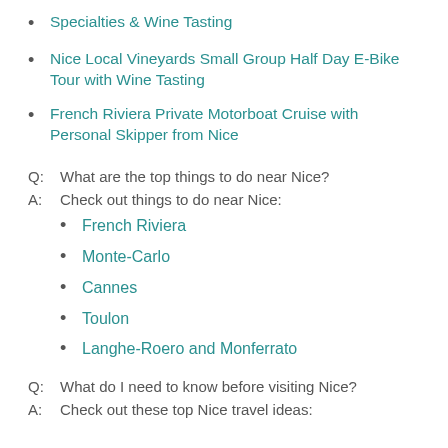Specialties & Wine Tasting
Nice Local Vineyards Small Group Half Day E-Bike Tour with Wine Tasting
French Riviera Private Motorboat Cruise with Personal Skipper from Nice
Q:  What are the top things to do near Nice?
A:  Check out things to do near Nice:
French Riviera
Monte-Carlo
Cannes
Toulon
Langhe-Roero and Monferrato
Q:  What do I need to know before visiting Nice?
A:  Check out these top Nice travel ideas: